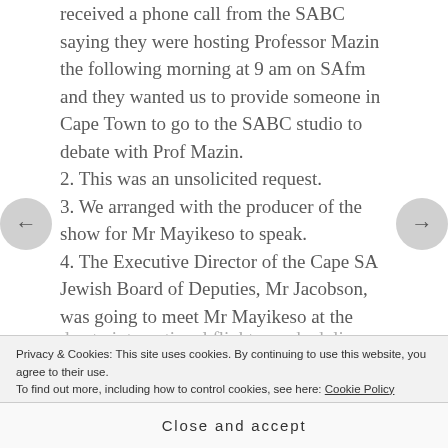received a phone call from the SABC saying they were hosting Professor Mazin the following morning at 9 am on SAfm and they wanted us to provide someone in Cape Town to go to the SABC studio to debate with Prof Mazin.
2. This was an unsolicited request.
3. We arranged with the producer of the show for Mr Mayikeso to speak.
4. The Executive Director of the Cape SA Jewish Board of Deputies, Mr Jacobson, was going to meet Mr Mayikeso at the studio at 8.55 am.
5. At 8.30 am on Tuesday morning, 12 March, the
Privacy & Cookies: This site uses cookies. By continuing to use this website, you agree to their use. To find out more, including how to control cookies, see here: Cookie Policy
Close and accept
due to international flights rescheduling and